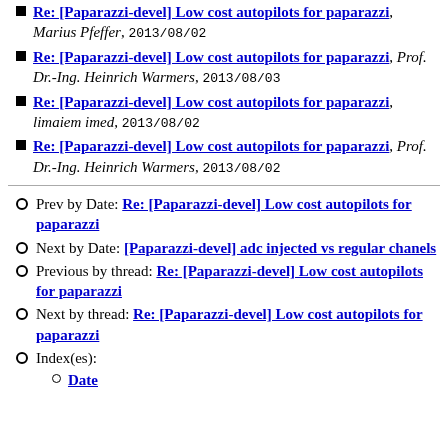Re: [Paparazzi-devel] Low cost autopilots for paparazzi, Marius Pfeffer, 2013/08/02
Re: [Paparazzi-devel] Low cost autopilots for paparazzi, Prof. Dr.-Ing. Heinrich Warmers, 2013/08/03
Re: [Paparazzi-devel] Low cost autopilots for paparazzi, limaiem imed, 2013/08/02
Re: [Paparazzi-devel] Low cost autopilots for paparazzi, Prof. Dr.-Ing. Heinrich Warmers, 2013/08/02
Prev by Date: Re: [Paparazzi-devel] Low cost autopilots for paparazzi
Next by Date: [Paparazzi-devel] adc injected vs regular chanels
Previous by thread: Re: [Paparazzi-devel] Low cost autopilots for paparazzi
Next by thread: Re: [Paparazzi-devel] Low cost autopilots for paparazzi
Index(es):
Date